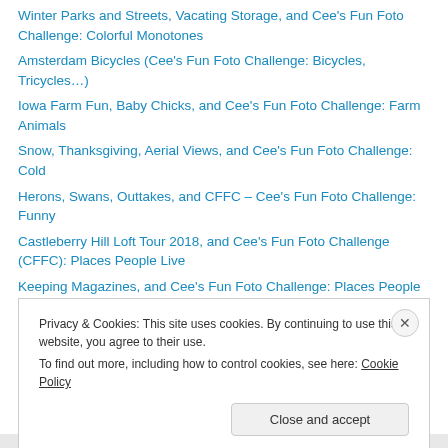Winter Parks and Streets, Vacating Storage, and Cee's Fun Foto Challenge: Colorful Monotones
Amsterdam Bicycles (Cee's Fun Foto Challenge: Bicycles, Tricycles…)
Iowa Farm Fun, Baby Chicks, and Cee's Fun Foto Challenge: Farm Animals
Snow, Thanksgiving, Aerial Views, and Cee's Fun Foto Challenge: Cold
Herons, Swans, Outtakes, and CFFC – Cee's Fun Foto Challenge: Funny
Castleberry Hill Loft Tour 2018, and Cee's Fun Foto Challenge (CFFC): Places People Live
Keeping Magazines, and Cee's Fun Foto Challenge: Places People Live
Privacy & Cookies: This site uses cookies. By continuing to use this website, you agree to their use. To find out more, including how to control cookies, see here: Cookie Policy